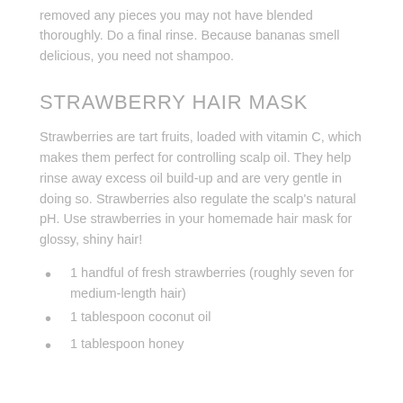removed any pieces you may not have blended thoroughly. Do a final rinse. Because bananas smell delicious, you need not shampoo.
STRAWBERRY HAIR MASK
Strawberries are tart fruits, loaded with vitamin C, which makes them perfect for controlling scalp oil. They help rinse away excess oil build-up and are very gentle in doing so. Strawberries also regulate the scalp's natural pH. Use strawberries in your homemade hair mask for glossy, shiny hair!
1 handful of fresh strawberries (roughly seven for medium-length hair)
1 tablespoon coconut oil
1 tablespoon honey